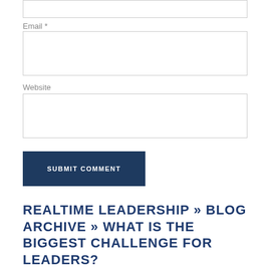Email *
[Figure (other): Email input text field, bordered rectangle]
Website
[Figure (other): Website input text field, bordered rectangle]
SUBMIT COMMENT
REALTIME LEADERSHIP » BLOG ARCHIVE » WHAT IS THE BIGGEST CHALLENGE FOR LEADERS?